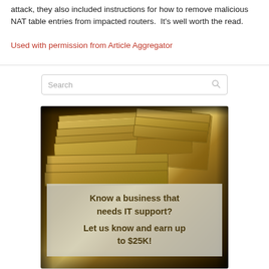attack, they also included instructions for how to remove malicious NAT table entries from impacted routers.  It's well worth the read.
Used with permission from Article Aggregator
[Figure (screenshot): Search box with placeholder text 'Search' and a magnifying glass icon on the right]
[Figure (photo): Advertisement image showing stacks of US dollar bills in a briefcase with a semi-transparent overlay box containing text: 'Know a business that needs IT support? Let us know and earn up to $25K!']